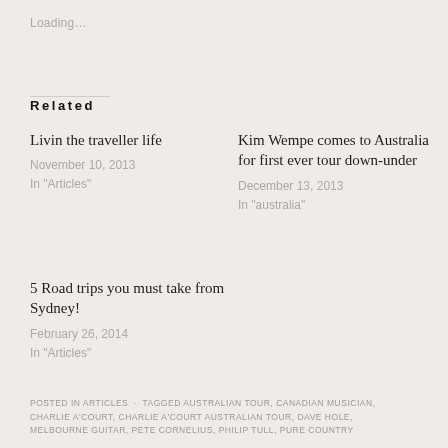Loading...
Related
Livin the traveller life
November 10, 2013
In "Articles"
Kim Wempe comes to Australia for first ever tour down-under
December 13, 2013
In "australia"
5 Road trips you must take from Sydney!
February 26, 2014
In "Articles"
POSTED IN ARTICLES · TAGGED AUSTRALIAN TOUR, CANADIAN MUSICIAN, CHARLIE A'COURT, CHARLIE A'COURT AUSTRALIAN TOUR, DAVE HOLE, MELBOURNE GUITAR, PETE CORNELIUS, PHILIP TULL, PURE COUNTRY